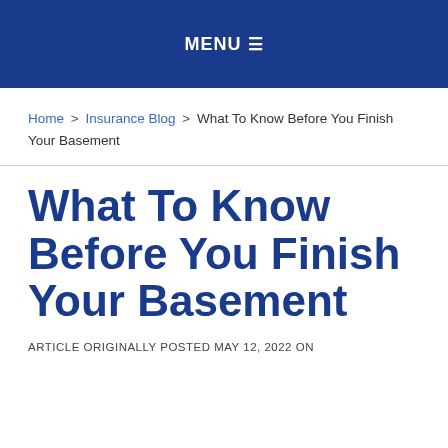MENU ☰
Home > Insurance Blog > What To Know Before You Finish Your Basement
What To Know Before You Finish Your Basement
ARTICLE ORIGINALLY POSTED MAY 12, 2022 ON